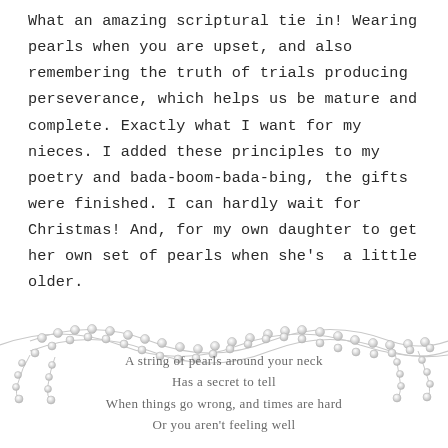What an amazing scriptural tie in! Wearing pearls when you are upset, and also remembering the truth of trials producing perseverance, which helps us be mature and complete. Exactly what I want for my nieces. I added these principles to my poetry and bada-boom-bada-bing, the gifts were finished. I can hardly wait for Christmas! And, for my own daughter to get her own set of pearls when she's a little older.
[Figure (illustration): Decorative pearl necklace border/divider with overlapping looped strands of pearls across the top, with dangling pearl strands on the sides. Below the pearl decoration is a poem in gray serif font: 'A string of pearls around your neck / Has a secret to tell / When things go wrong, and times are hard / Or you aren't feeling well // It's a grand tradition, in the South / Wear pearls when you are sad']